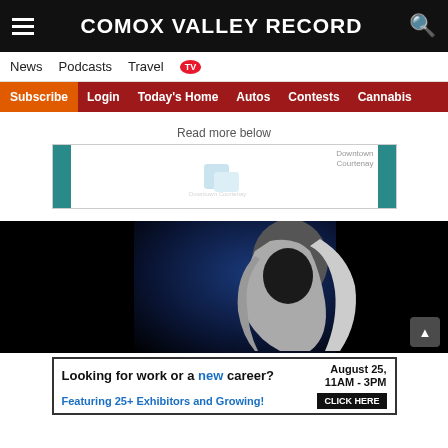COMOX VALLEY RECORD
News  Podcasts  Travel  TV
Subscribe  Login  Today's Home  Autos  Contests  Cannabis
Read more below
[Figure (other): Advertisement banner with teal side bars and Downtown Courtenay logo]
[Figure (photo): A person with light/grey hair photographed against a dark blue and black background, from behind/side angle]
[Figure (other): Advertisement: Looking for work or a new career? August 25, 11AM-3PM. Featuring 25+ Exhibitors and Growing! CLICK HERE]